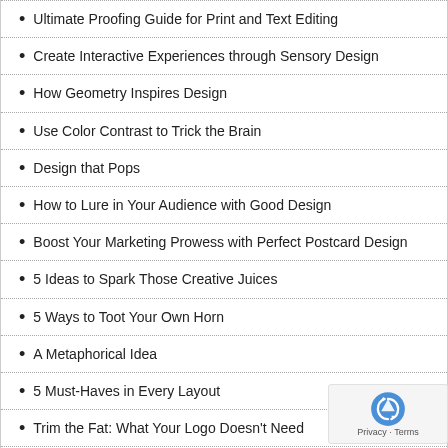Ultimate Proofing Guide for Print and Text Editing
Create Interactive Experiences through Sensory Design
How Geometry Inspires Design
Use Color Contrast to Trick the Brain
Design that Pops
How to Lure in Your Audience with Good Design
Boost Your Marketing Prowess with Perfect Postcard Design
5 Ideas to Spark Those Creative Juices
5 Ways to Toot Your Own Horn
A Metaphorical Idea
5 Must-Haves in Every Layout
Trim the Fat: What Your Logo Doesn't Need
Timeboxing: An Outline for More Efficient Design
Paragraph Indicators - Make A Dent in Your Universe
Designing for Color-Blind Viewers